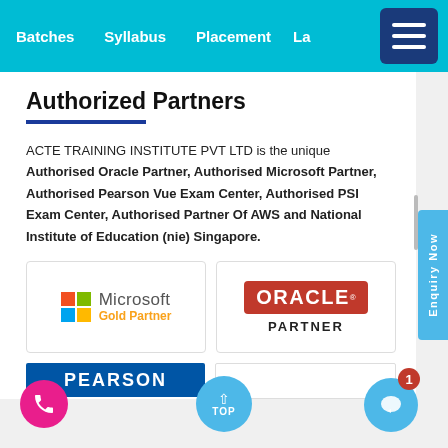Batches  Syllabus  Placement  La...
Authorized Partners
ACTE TRAINING INSTITUTE PVT LTD is the unique Authorised Oracle Partner, Authorised Microsoft Partner, Authorised Pearson Vue Exam Center, Authorised PSI Exam Center, Authorised Partner Of AWS and National Institute of Education (nie) Singapore.
[Figure (logo): Microsoft Gold Partner logo with four-color grid icon]
[Figure (logo): Oracle Partner logo with red background and PARTNER text below]
[Figure (logo): Pearson logo partial view (blue background, white text PEARSON)]